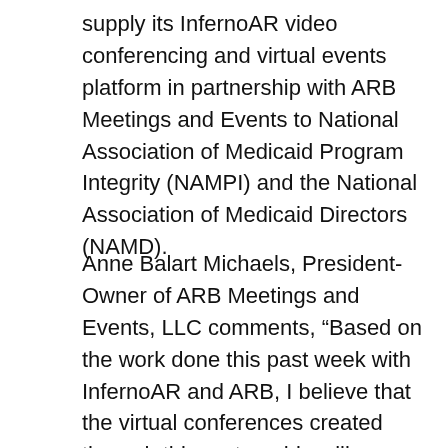supply its InfernoAR video conferencing and virtual events platform in partnership with ARB Meetings and Events to National Association of Medicaid Program Integrity (NAMPI) and the National Association of Medicaid Directors (NAMD).
Anne Balart Michaels, President-Owner of ARB Meetings and Events, LLC comments, “Based on the work done this past week with InfernoAR and ARB, I believe that the virtual conferences created through this partnership will revolutionize the way people meet. I have been managing in-person meetings for almost 20